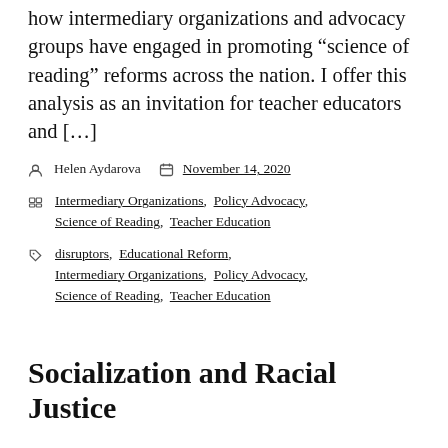how intermediary organizations and advocacy groups have engaged in promoting “science of reading” reforms across the nation. I offer this analysis as an invitation for teacher educators and […]
Helen Aydarova   November 14, 2020
Intermediary Organizations, Policy Advocacy, Science of Reading, Teacher Education
disruptors, Educational Reform, Intermediary Organizations, Policy Advocacy, Science of Reading, Teacher Education
Socialization and Racial Justice